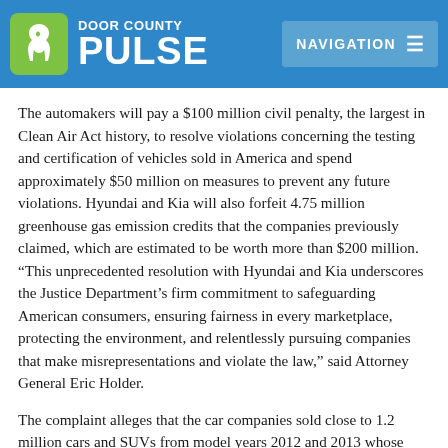Door County Pulse — Navigation
The automakers will pay a $100 million civil penalty, the largest in Clean Air Act history, to resolve violations concerning the testing and certification of vehicles sold in America and spend approximately $50 million on measures to prevent any future violations. Hyundai and Kia will also forfeit 4.75 million greenhouse gas emission credits that the companies previously claimed, which are estimated to be worth more than $200 million. “This unprecedented resolution with Hyundai and Kia underscores the Justice Department’s firm commitment to safeguarding American consumers, ensuring fairness in every marketplace, protecting the environment, and relentlessly pursuing companies that make misrepresentations and violate the law,” said Attorney General Eric Holder.
The complaint alleges that the car companies sold close to 1.2 million cars and SUVs from model years 2012 and 2013 whose design specifications did not conform to the specifications the